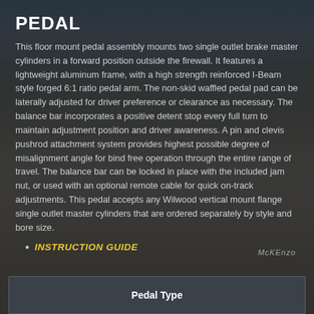PEDAL
This floor mount pedal assembly mounts two single outlet brake master cylinders in a forward position outside the firewall. It features a lightweight aluminum frame, with a high strength reinforced I-Beam style forged 6:1 ratio pedal arm. The non-skid waffled pedal pad can be laterally adjusted for driver preference or clearance as necessary. The balance bar incorporates a positive detent stop every full turn to maintain adjustment position and driver awareness. A pin and clevis pushrod attachment system provides highest possible degree of misalignment angle for bind free operation through the entire range of travel. The balance bar can be locked in place with the included jam nut, or used with an optional remote cable for quick on-track adjustments. This pedal accepts any Wilwood vertical mount flange single outlet master cylinders that are ordered separately by style and bore size.
INSTRUCTION GUIDE
| Pedal Type |
| --- |